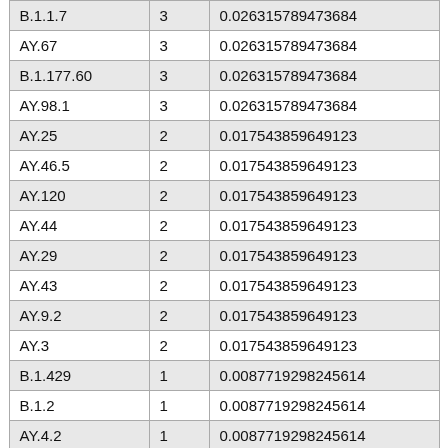| B.1.1.7 | 3 | 0.026315789473684 |
| AY.67 | 3 | 0.026315789473684 |
| B.1.177.60 | 3 | 0.026315789473684 |
| AY.98.1 | 3 | 0.026315789473684 |
| AY.25 | 2 | 0.017543859649123 |
| AY.46.5 | 2 | 0.017543859649123 |
| AY.120 | 2 | 0.017543859649123 |
| AY.44 | 2 | 0.017543859649123 |
| AY.29 | 2 | 0.017543859649123 |
| AY.43 | 2 | 0.017543859649123 |
| AY.9.2 | 2 | 0.017543859649123 |
| AY.3 | 2 | 0.017543859649123 |
| B.1.429 | 1 | 0.0087719298245614 |
| B.1.2 | 1 | 0.0087719298245614 |
| AY.4.2 | 1 | 0.0087719298245614 |
| B | 1 | 0.0087719298245614 |